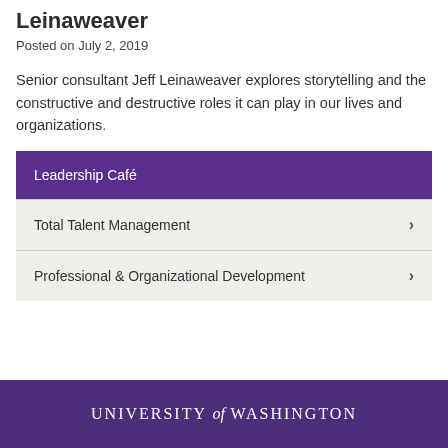Leinaweaver
Posted on July 2, 2019
Senior consultant Jeff Leinaweaver explores storytelling and the constructive and destructive roles it can play in our lives and organizations.
Leadership Café
Total Talent Management
Professional & Organizational Development
UNIVERSITY of WASHINGTON